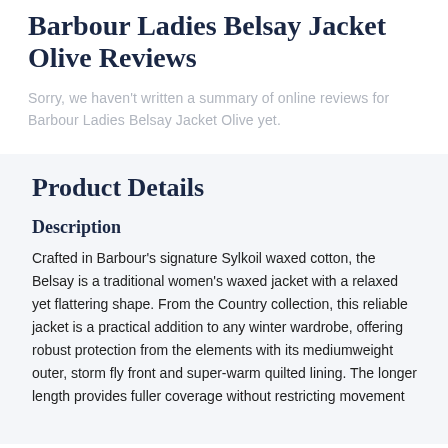Barbour Ladies Belsay Jacket Olive Reviews
Sorry, we haven't written a summary of online reviews for Barbour Ladies Belsay Jacket Olive yet.
Product Details
Description
Crafted in Barbour's signature Sylkoil waxed cotton, the Belsay is a traditional women's waxed jacket with a relaxed yet flattering shape. From the Country collection, this reliable jacket is a practical addition to any winter wardrobe, offering robust protection from the elements with its mediumweight outer, storm fly front and super-warm quilted lining. The longer length provides fuller coverage without restricting movement